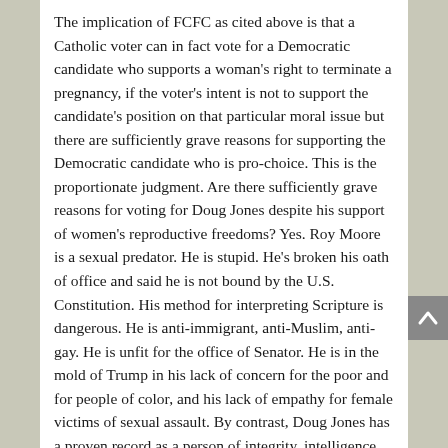The implication of FCFC as cited above is that a Catholic voter can in fact vote for a Democratic candidate who supports a woman's right to terminate a pregnancy, if the voter's intent is not to support the candidate's position on that particular moral issue but there are sufficiently grave reasons for supporting the Democratic candidate who is pro-choice. This is the proportionate judgment. Are there sufficiently grave reasons for voting for Doug Jones despite his support of women's reproductive freedoms? Yes. Roy Moore is a sexual predator. He is stupid. He's broken his oath of office and said he is not bound by the U.S. Constitution. His method for interpreting Scripture is dangerous. He is anti-immigrant, anti-Muslim, anti-gay. He is unfit for the office of Senator. He is in the mold of Trump in his lack of concern for the poor and for people of color, and his lack of empathy for female victims of sexual assault. By contrast, Doug Jones has a proven record as a person of integrity, intelligence, and work ethic. He seems to